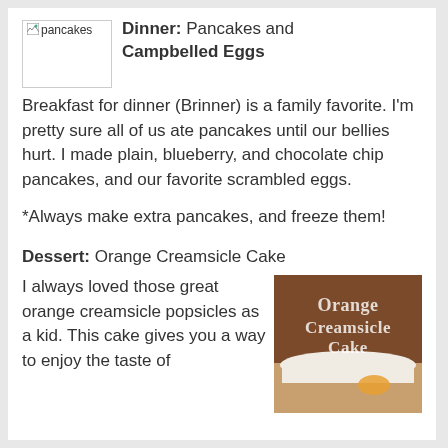[Figure (photo): Broken image placeholder labeled 'pancakes']
Dinner: Pancakes and Campbelled Eggs
Breakfast for dinner (Brinner) is a family favorite. I'm pretty sure all of us ate pancakes until our bellies hurt. I made plain, blueberry, and chocolate chip pancakes, and our favorite scrambled eggs.
*Always make extra pancakes, and freeze them!
Dessert: Orange Creamsicle Cake
I always loved those great orange creamsicle popsicles as a kid. This cake gives you a way to enjoy the taste of
[Figure (photo): Photo of Orange Creamsicle Cake with text overlay reading 'Orange Creamsicle Cake']